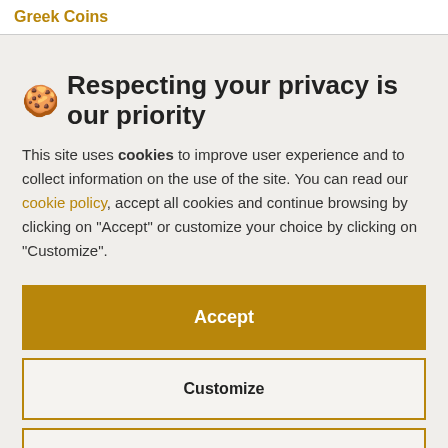Greek Coins
🍪 Respecting your privacy is our priority
This site uses cookies to improve user experience and to collect information on the use of the site. You can read our cookie policy, accept all cookies and continue browsing by clicking on "Accept" or customize your choice by clicking on "Customize".
Accept
Customize
Continue without accepting